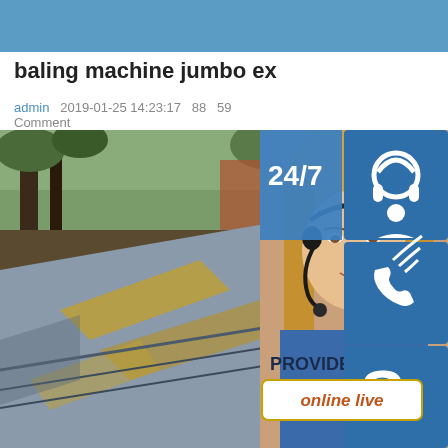baling machine jumbo ex
admin   2019-01-25 14:23:17   88   59 Comment
[Figure (photo): Stack of large steel plates or metal sheets outdoors, with rust and industrial background.]
[Figure (infographic): 24/7 customer support sidebar widget with headset icon, phone icon, Skype icon, and 'online live' button. Includes a customer service representative photo.]